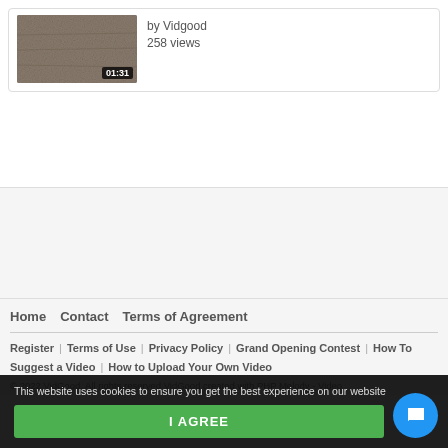[Figure (screenshot): Video thumbnail with duration badge 01:31 showing grainy/textured image]
by Vidgood
258 views
Home | Contact | Terms of Agreement
Register | Terms of Use | Privacy Policy | Grand Opening Contest | How To Suggest a Video | How to Upload Your Own Video
© 2022 VidGood. All rights reserved VidGood created with PHP Melody - Video
This website uses cookies to ensure you get the best experience on our website
I AGREE